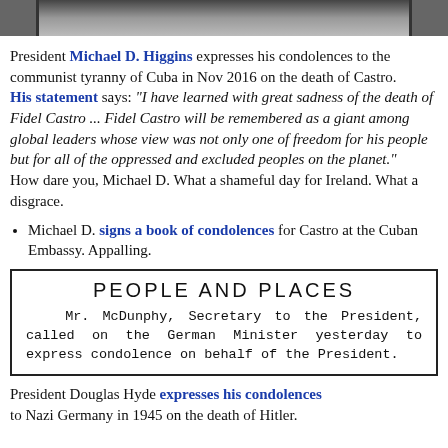[Figure (photo): Partial photograph visible at top of page, showing a dark/greyscale image, partially cropped.]
President Michael D. Higgins expresses his condolences to the communist tyranny of Cuba in Nov 2016 on the death of Castro.
His statement says: "I have learned with great sadness of the death of Fidel Castro ... Fidel Castro will be remembered as a giant among global leaders whose view was not only one of freedom for his people but for all of the oppressed and excluded peoples on the planet."
How dare you, Michael D. What a shameful day for Ireland. What a disgrace.
Michael D. signs a book of condolences for Castro at the Cuban Embassy. Appalling.
[Figure (screenshot): Newspaper clipping box titled 'PEOPLE AND PLACES' with text: Mr. McDunphy, Secretary to the President, called on the German Minister yesterday to express condolence on behalf of the President.]
President Douglas Hyde expresses his condolences to Nazi Germany in 1945 on the death of Hitler.